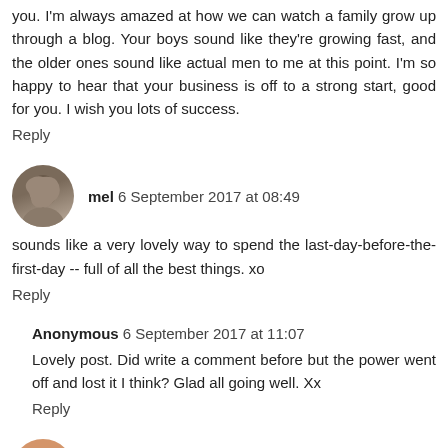you. I'm always amazed at how we can watch a family grow up through a blog. Your boys sound like they're growing fast, and the older ones sound like actual men to me at this point. I'm so happy to hear that your business is off to a strong start, good for you. I wish you lots of success.
Reply
mel 6 September 2017 at 08:49
sounds like a very lovely way to spend the last-day-before-the-first-day -- full of all the best things. xo
Reply
Anonymous 6 September 2017 at 11:07
Lovely post. Did write a comment before but the power went off and lost it I think? Glad all going well. Xx
Reply
Down by the sea 6 September 2017 at 12:33